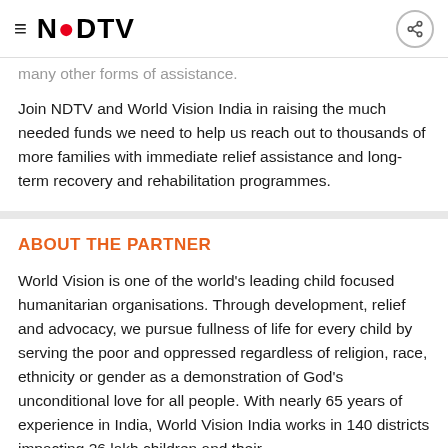≡  NDTV
many other forms of assistance.
Join NDTV and World Vision India in raising the much needed funds we need to help us reach out to thousands of more families with immediate relief assistance and long-term recovery and rehabilitation programmes.
ABOUT THE PARTNER
World Vision is one of the world's leading child focused humanitarian organisations. Through development, relief and advocacy, we pursue fullness of life for every child by serving the poor and oppressed regardless of religion, race, ethnicity or gender as a demonstration of God's unconditional love for all people. With nearly 65 years of experience in India, World Vision India works in 140 districts impacting 26 lakh children and their